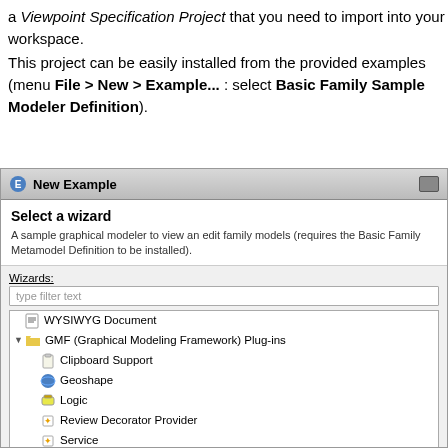a Viewpoint Specification Project that you need to import into your workspace.
This project can be easily installed from the provided examples (menu File > New > Example... : select Basic Family Sample Modeler Definition).
[Figure (screenshot): Screenshot of the 'New Example' dialog in Eclipse IDE showing a wizard selection UI with options including WYSIWYG Document, GMF Plug-ins (Clipboard Support, Geoshape, Logic, Review Decorator Provider, Service, Square Layout Provider), and Sirius Examples (Basic Family Metamodel Definition).]